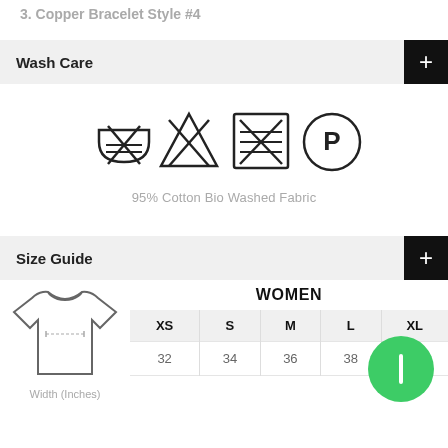3. Copper Bracelet Style #4
Wash Care
[Figure (illustration): Four laundry care symbols: do not wash (crossed tub), do not bleach (crossed triangle), do not tumble dry (crossed square), and professional dry clean (P in circle)]
95% Cotton Bio Washed Fabric
Size Guide
[Figure (illustration): Line drawing of a women's t-shirt]
|  | XS | S | M | L | XL |
| --- | --- | --- | --- | --- | --- |
| Width (Inches) | 32 | 34 | 36 | 38 | 40 |